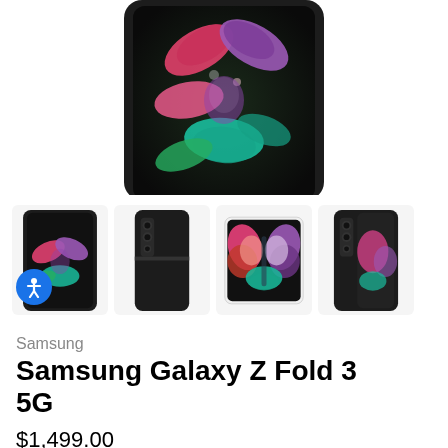[Figure (photo): Top portion of Samsung Galaxy Z Fold 3 5G smartphone showing the folded device from above with a colorful butterfly/floral art on the inner screen, black finish, cropped at top]
[Figure (photo): Four thumbnail images of Samsung Galaxy Z Fold 3 5G: 1) front view unfolded with butterfly art, 2) rear view closed, 3) fully open showing large butterfly art, 4) partially open rear view]
Samsung
Samsung Galaxy Z Fold 3 5G
$1,499.00